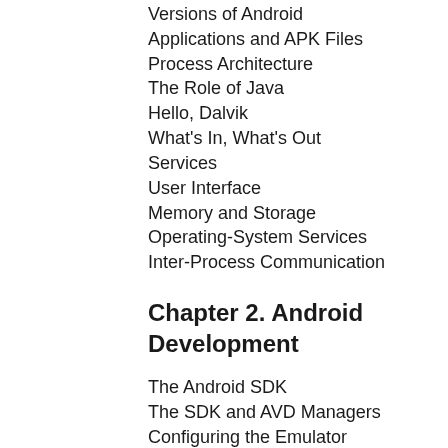Versions of Android
Applications and APK Files
Process Architecture
The Role of Java
Hello, Dalvik
What's In, What's Out
Services
User Interface
Memory and Storage
Operating-System Services
Inter-Process Communication
Chapter 2. Android Development
The Android SDK
The SDK and AVD Managers
Configuring the Emulator
Eclipse
Resources
APK Files
Build Process
The R Class